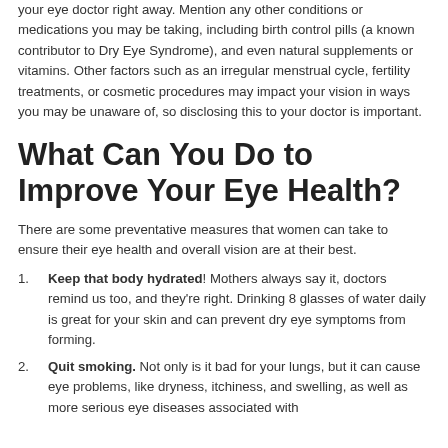your eye doctor right away. Mention any other conditions or medications you may be taking, including birth control pills (a known contributor to Dry Eye Syndrome), and even natural supplements or vitamins. Other factors such as an irregular menstrual cycle, fertility treatments, or cosmetic procedures may impact your vision in ways you may be unaware of, so disclosing this to your doctor is important.
What Can You Do to Improve Your Eye Health?
There are some preventative measures that women can take to ensure their eye health and overall vision are at their best.
Keep that body hydrated! Mothers always say it, doctors remind us too, and they're right. Drinking 8 glasses of water daily is great for your skin and can prevent dry eye symptoms from forming.
Quit smoking. Not only is it bad for your lungs, but it can cause eye problems, like dryness, itchiness, and swelling, as well as more serious eye diseases associated with